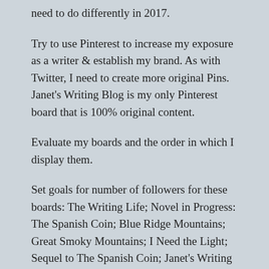need to do differently in 2017.
Try to use Pinterest to increase my exposure as a writer & establish my brand. As with Twitter, I need to create more original Pins. Janet's Writing Blog is my only Pinterest board that is 100% original content.
Evaluate my boards and the order in which I display them.
Set goals for number of followers for these boards: The Writing Life; Novel in Progress: The Spanish Coin; Blue Ridge Mountains; Great Smoky Mountains; I Need the Light; Sequel to The Spanish Coin; Janet's Writing Blog; and Blog Odds & Ends.
Facebook: Janet Morrison, Writer
Try to use Facebook to increase my exposure as a